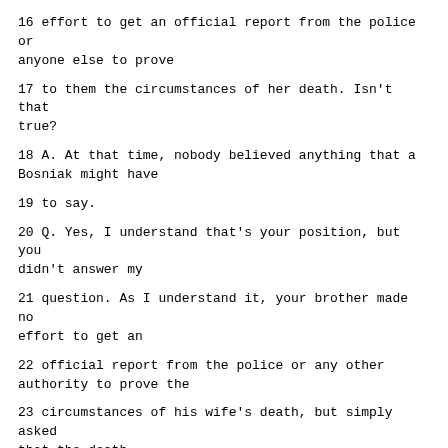16 effort to get an official report from the police or anyone else to prove
17 to them the circumstances of her death. Isn't that true?
18 A. At that time, nobody believed anything that a Bosniak might have
19 to say.
20 Q. Yes, I understand that's your position, but you didn't answer my
21 question. As I understand it, your brother made no effort to get an
22 official report from the police or any other authority to prove the
23 circumstances of his wife's death, but simply asked that the death
24 certificate be issued upon his word alone.
25 A. But they didn't give it to him. The police didn't give him its
Page 17597
1 report. Because the civilian authorities in the